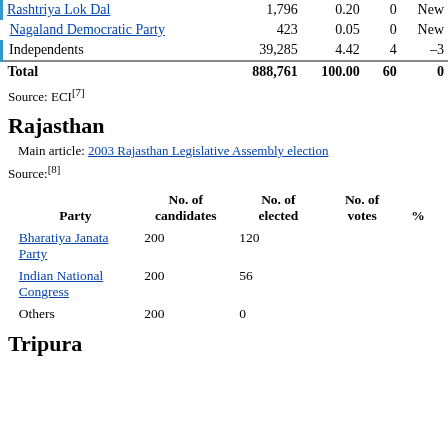| Party | Votes | % | Seats | +/− |
| --- | --- | --- | --- | --- |
| Rashtriya Lok Dal | 1,796 | 0.20 | 0 | New |
| Nagaland Democratic Party | 423 | 0.05 | 0 | New |
| Independents | 39,285 | 4.42 | 4 | –3 |
| Total | 888,761 | 100.00 | 60 | 0 |
Source: ECI[7]
Rajasthan
Main article: 2003 Rajasthan Legislative Assembly election
Source:[8]
| Party | No. of candidates | No. of elected | No. of votes | % |
| --- | --- | --- | --- | --- |
| Bharatiya Janata Party | 200 | 120 |  |  |
| Indian National Congress | 200 | 56 |  |  |
| Others | 200 | 0 |  |  |
Tripura